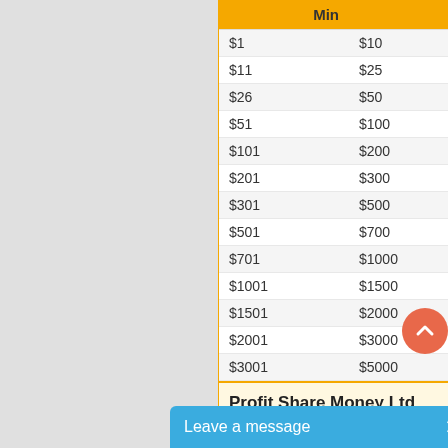| Min | Ma(x) |
| --- | --- |
| $1 | $10 |
| $11 | $25 |
| $26 | $50 |
| $51 | $100 |
| $101 | $200 |
| $201 | $300 |
| $301 | $500 |
| $501 | $700 |
| $701 | $1000 |
| $1001 | $1500 |
| $1501 | $2000 |
| $2001 | $3000 |
| $3001 | $5000 |
Profit Share Money Ltd
| Deposit | Min | Ma(x) |
| --- | --- | --- |
Leave a message